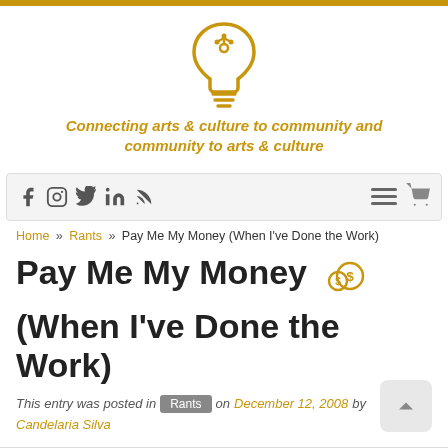[Figure (logo): Gold lightbulb icon with decorative crown-like filament]
Connecting arts & culture to community and community to arts & culture
Navigation bar with social icons (Facebook, Instagram, Twitter, LinkedIn, RSS), hamburger menu, and cart icon
Home » Rants » Pay Me My Money (When I've Done the Work)
Pay Me My Money (When I've Done the Work)
This entry was posted in Rants on December 12, 2008 by Candelaria Silva